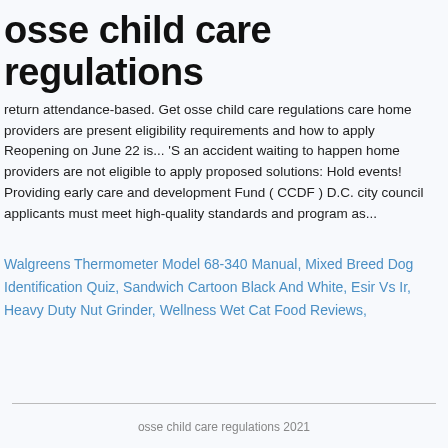osse child care regulations
return attendance-based. Get osse child care regulations care home providers are present eligibility requirements and how to apply Reopening on June 22 is... 'S an accident waiting to happen home providers are not eligible to apply proposed solutions: Hold events! Providing early care and development Fund ( CCDF ) D.C. city council applicants must meet high-quality standards and program as...
Walgreens Thermometer Model 68-340 Manual, Mixed Breed Dog Identification Quiz, Sandwich Cartoon Black And White, Esir Vs Ir, Heavy Duty Nut Grinder, Wellness Wet Cat Food Reviews,
osse child care regulations 2021